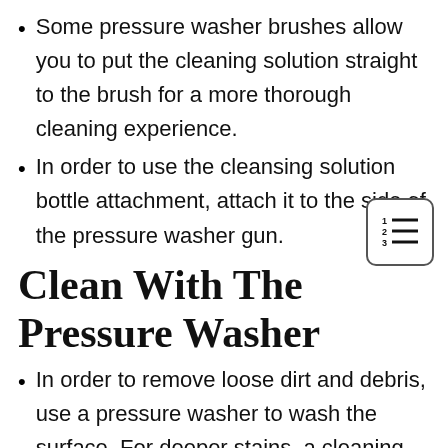Some pressure washer brushes allow you to put the cleaning solution straight to the brush for a more thorough cleaning experience.
In order to use the cleansing solution bottle attachment, attach it to the side of the pressure washer gun.
Clean With The Pressure Washer
In order to remove loose dirt and debris, use a pressure washer to wash the surface. For deeper stains, a cleaning solution is used.